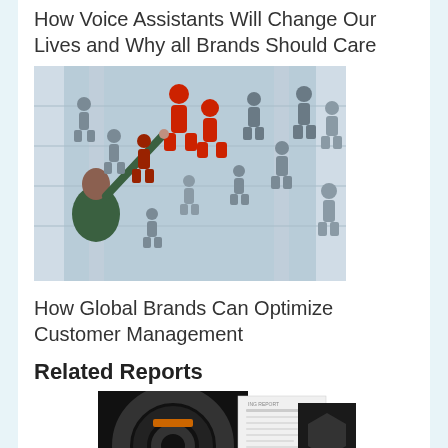How Voice Assistants Will Change Our Lives and Why all Brands Should Care
[Figure (photo): Woman pointing up at floating human silhouette icons in a modern building atrium; two red silhouettes highlighted among many grey ones]
How Global Brands Can Optimize Customer Management
Related Reports
[Figure (photo): Three overlapping report covers: a dark black cover titled 'Optimising Your Modern Contact Centre: A Self Assessment Guide', a white document, and a dark hexagonal design cover]